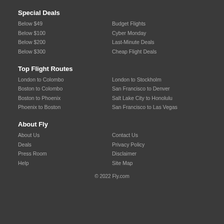Special Deals
Below $49
Budget Flights
Below $100
Cyber Monday
Below $200
Last-Minute Deals
Below $300
Cheap Flight Deals
Top Flight Routes
London to Colombo
London to Stockholm
Boston to Colombo
San Francisco to Denver
Boston to Phoenix
Salt Lake City to Honolulu
Phoenix to Boston
San Francisco to Las Vegas
About Fly
About Us
Contact Us
Deals
Privacy Policy
Press Room
Disclaimer
Help
Site Map
© 2022 Fly.com